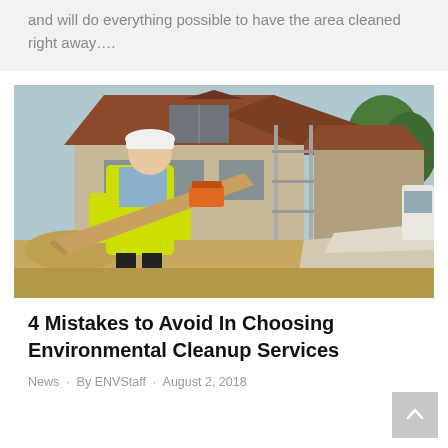and will do everything possible to have the area cleaned right away….
[Figure (photo): Construction site photo: worker in yellow high-vis vest and white hard hat carrying a wooden plank, with a house under construction with scaffolding in the background, trees on right, construction debris and sand on ground.]
4 Mistakes to Avoid In Choosing Environmental Cleanup Services
News · By ENVStaff · August 2, 2018